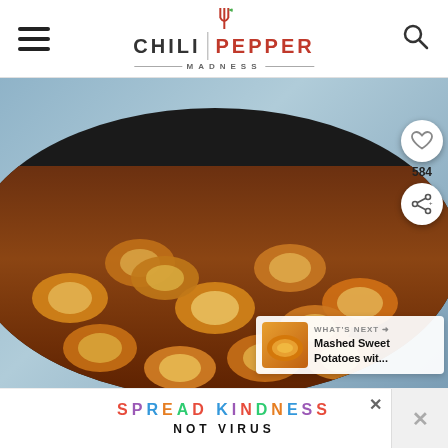CHILI PEPPER MADNESS
[Figure (photo): Photo of shrimp in dark sauce in a cast iron skillet, with social sharing UI overlay showing heart/save button (584 saves), share button, and a 'What's Next' card for Mashed Sweet Potatoes]
SPREAD KINDNESS NOT VIRUS